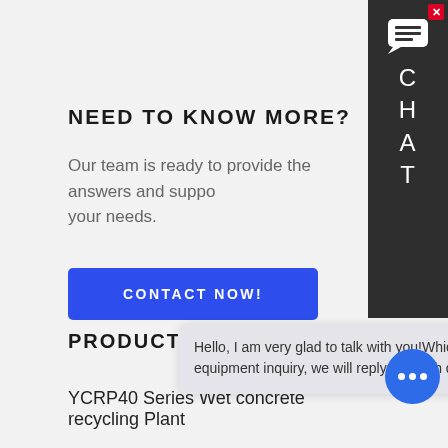NEED TO KNOW MORE?
Our team is ready to provide the answers and support your needs.
CONTACT NOW!
PRODUCTS
YCRP40 Series Wet concrete recycling Plant Equipment
Self-Compacting Concrete Mobile Mixing Station
HZS Se...
NZGOB...
Hello, I am very glad to talk with you!Which equipment are you interested in?Kindly leave your name and email & equipment inquiry, we will reply you with detail.